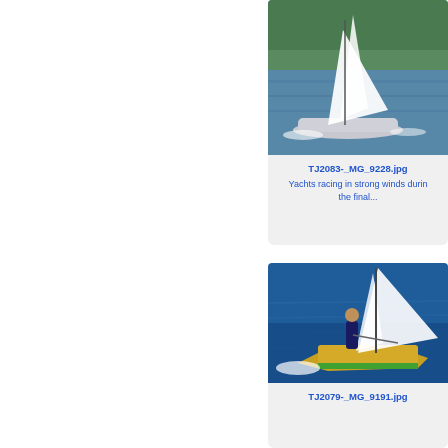[Figure (photo): Yachts racing in strong winds on open water with forested hills in background]
TJ2083-_MG_9228.jpg
Yachts racing in strong winds durin the final...
[Figure (photo): Sailor on colorful yellow-green trimaran/catamaran sailboat in blue water]
TJ2079-_MG_9191.jpg